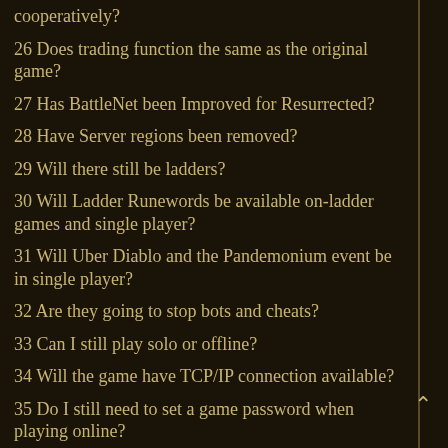cooperatively?
26 Does trading function the same as the original game?
27 Has BattleNet been Improved for Resurrected?
28 Have Server regions been removed?
29 Will there still be ladders?
30 Will Ladder Runewords be available on-ladder games and single player?
31 Will Uber Diablo and the Pandemonium event be in single player?
32 Are they going to stop bots and cheats?
33 Can I still play solo or offline?
34 Will the game have TCP/IP connection available?
35 Do I still need to set a game password when playing online?
36 Do I have to join a party when I join a